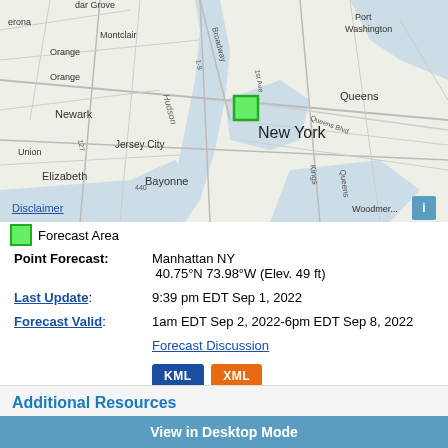[Figure (map): Street map showing New York City metropolitan area including Manhattan, Jersey City, Newark, Elizabeth, Bayonne, Queens, and surrounding areas. A green square marker is placed over Midtown Manhattan. Labels include Port Washington, Montclair, Verona, Orange, Newark, Jersey City, Union, Elizabeth, Bayonne, New York, Queens, Woodmere, Broadway, Hudson, Kings, Queens Blvd, 1-9, 127, 440.]
Forecast Area
Point Forecast: Manhattan NY 40.75°N 73.98°W (Elev. 49 ft)
Last Update: 9:39 pm EDT Sep 1, 2022
Forecast Valid: 1am EDT Sep 2, 2022-6pm EDT Sep 8, 2022
Forecast Discussion
Additional Resources
View in Desktop Mode